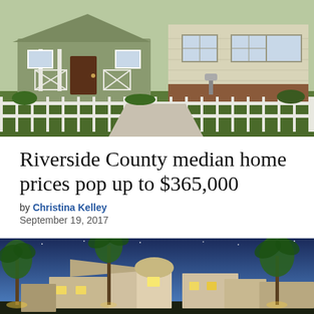[Figure (photo): Suburban house with white fence, green lawn, and decorative porch details]
Riverside County median home prices pop up to $365,000
by Christina Kelley
September 19, 2017
[Figure (photo): Luxury home exterior at dusk with palm trees and blue sky]